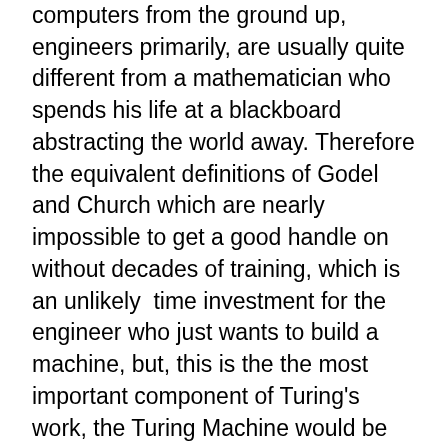computers from the ground up, engineers primarily, are usually quite different from a mathematician who spends his life at a blackboard abstracting the world away. Therefore the equivalent definitions of Godel and Church which are nearly impossible to get a good handle on without decades of training, which is an unlikely  time investment for the engineer who just wants to build a machine, but, this is the the most important component of Turing's work, the Turing Machine would be easy for the engineer to grasp at an intuitive level and begin to apply.
We are now nearly 74 years past the submission of Turing's paper and our entire world is run by the physical manifestations of